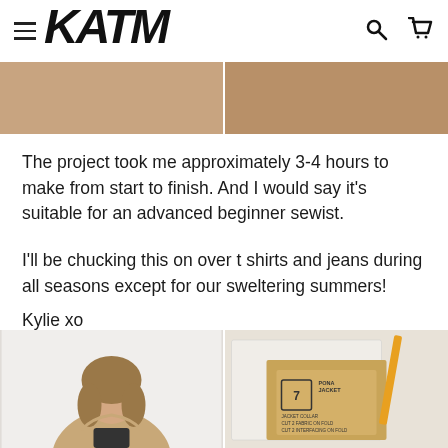KATM (logo with hamburger menu, search icon, cart icon)
[Figure (photo): Two side-by-side photos showing beige/tan fabric jacket details]
The project took me approximately 3-4 hours to make from start to finish. And I would say it's suitable for an advanced beginner sewist.
I'll be chucking this on over t shirts and jeans during all seasons except for our sweltering summers!
Kylie xo
[Figure (photo): Left: woman smiling wearing a beige jacket over black top. Right: sewing pattern pieces with 'PONA JACKET' label showing piece 7 - JACKET COLLAR, CUT 2 FABRIC ON FOLD, CUT 2 INTERFACING ON FOLD.]